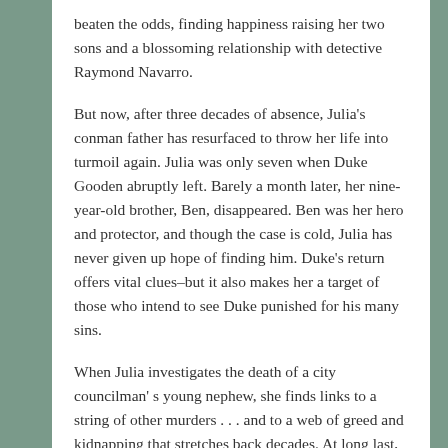beaten the odds, finding happiness raising her two sons and a blossoming relationship with detective Raymond Navarro.
But now, after three decades of absence, Julia's conman father has resurfaced to throw her life into turmoil again. Julia was only seven when Duke Gooden abruptly left. Barely a month later, her nine-year-old brother, Ben, disappeared. Ben was her hero and protector, and though the case is cold, Julia has never given up hope of finding him. Duke's return offers vital clues–but it also makes her a target of those who intend to see Duke punished for his many sins.
When Julia investigates the death of a city councilman's young nephew, she finds links to a string of other murders . . . and to a web of greed and kidnapping that stretches back decades. At long last, Julia may be able to discover what happened to Ben all those years ago, but only if she's willing to risk everything in her present.